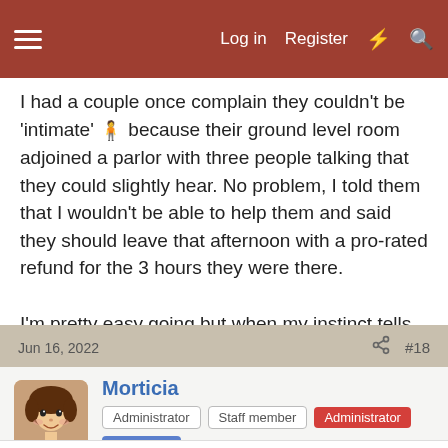☰  Log in  Register  ⚡  🔍
I had a couple once complain they couldn't be 'intimate' 🧍 because their ground level room adjoined a parlor with three people talking that they could slightly hear. No problem, I told them that I wouldn't be able to help them and said they should leave that afternoon with a pro-rated refund for the 3 hours they were there.

I'm pretty easy going but when my instinct tells me they are a problem I don't hesitate to nip it and send them off before sleeping and complaining on 'trippy' or someplace else!
Jun 16, 2022   🔗   #18
Morticia
Administrator  Staff member  Administrator  Moderator